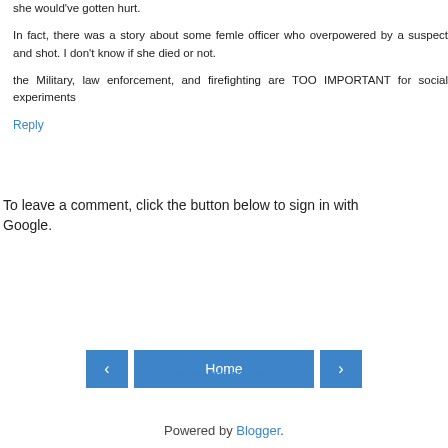she would've gotten hurt.
In fact, there was a story about some femle officer who overpowered by a suspect and shot. I don't know if she died or not.
the Military, law enforcement, and firefighting are TOO IMPORTANT for social experiments
Reply
To leave a comment, click the button below to sign in with Google.
SIGN IN WITH GOOGLE
Home
View web version
Powered by Blogger.